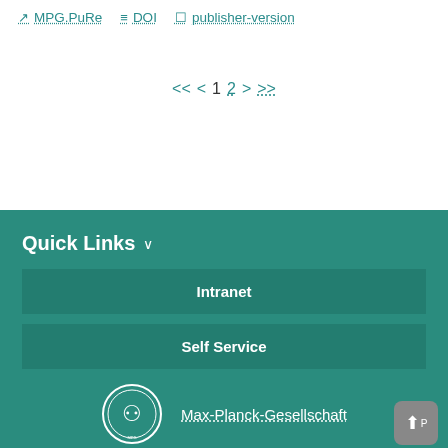MPG.PuRe   DOI   publisher-version
<< < 1 2 > >>
Quick Links
Intranet
Self Service
Max-Planck-Gesellschaft